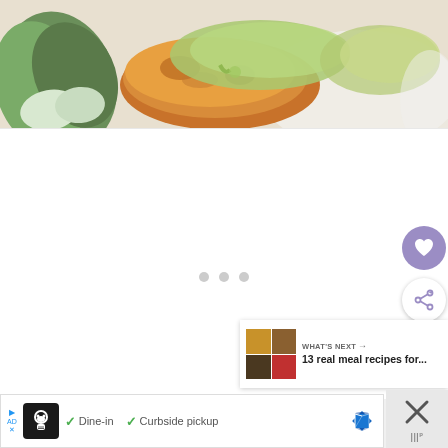[Figure (photo): Food photo showing a golden-brown pan-fried chicken or fish patty topped with creamy green sauce, served alongside bok choy leaves on a white plate]
[Figure (infographic): Navigation dots (three gray circles) indicating image carousel position]
[Figure (infographic): Heart/favorite button (purple circle with heart icon)]
[Figure (infographic): Share button (white circle with share icon)]
[Figure (infographic): What's Next panel showing thumbnail image collage and text '13 real meal recipes for...' with arrow]
[Figure (infographic): Advertisement banner: Dine-in, Curbside pickup options with chef logo and map icon, with close button]